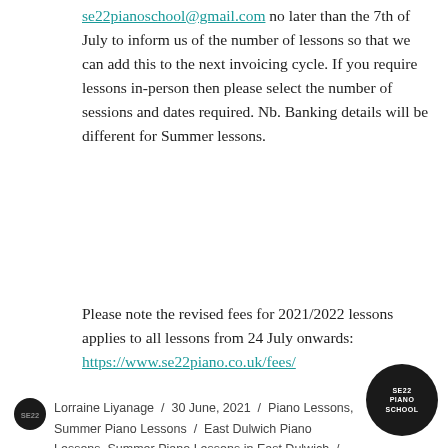se22pianoschool@gmail.com no later than the 7th of July to inform us of the number of lessons so that we can add this to the next invoicing cycle. If you require lessons in-person then please select the number of sessions and dates required. Nb. Banking details will be different for Summer lessons.
Please note the revised fees for 2021/2022 lessons applies to all lessons from 24 July onwards:
https://www.se22piano.co.uk/fees/
Lorraine Liyanage / 30 June, 2021 / Piano Lessons, Summer Piano Lessons / East Dulwich Piano Lessons, Summer Piano Lessons in East Dulwich / Leave a comment